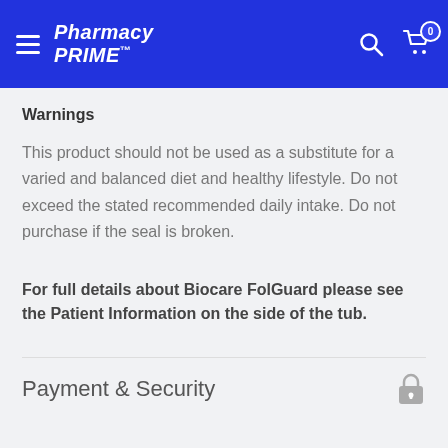Pharmacy PRIME™
Warnings
This product should not be used as a substitute for a varied and balanced diet and healthy lifestyle. Do not exceed the stated recommended daily intake. Do not purchase if the seal is broken.
For full details about Biocare FolGuard please see the Patient Information on the side of the tub.
Payment & Security